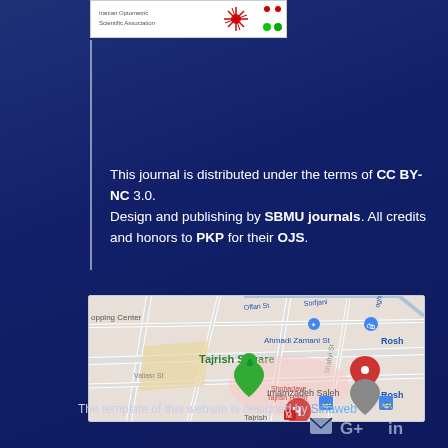[Figure (logo): Journal logo/header image with red burst graphic and colored dots on white background]
This journal is distributed under the terms of CC BY-NC 3.0. Design and publishing by SBMU journals. All credits and honors to PKP for their OJS.
[Figure (map): Google Maps screenshot showing Tajrish Square area in Tehran, with markers for Tajrish Square, Shohadaye Tajrish Hospital (H), Imamzadeh Saleh mosque, and surrounding streets including Ahmadi Zamani St, Valiasr St, Shafiyi St. Labels: Tajrish Square, Imamzadeh Saleh, Shohadaye Tajrish Hospi, Rosha (twice), shopping Center.]
The template of this website is designed by Sinaweb
[Figure (other): Social media icons: envelope (mail), G+, LinkedIn (in)]